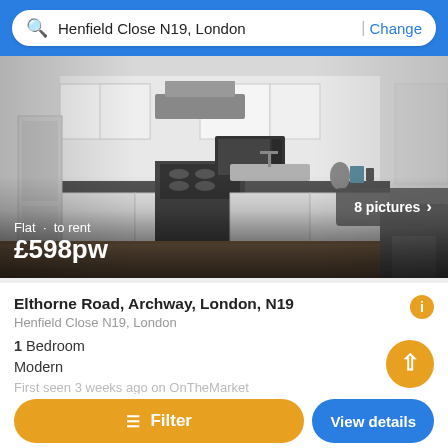Henfield Close N19, London | Change
[Figure (photo): Kitchen interior photo showing white cabinets, black countertops, gas range, microwave, and dining table]
Flat · to rent
£598pw
8 pictures
Elthorne Road, Archway, London, N19
Henfield Close N19, London
1 Bedroom
Modern
First seen 3 weeks ago on OnTheMarket
Filter
View details